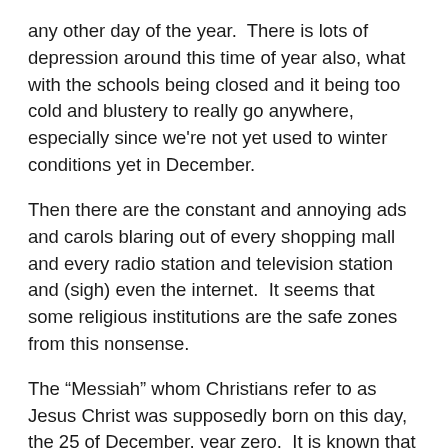any other day of the year.  There is lots of depression around this time of year also, what with the schools being closed and it being too cold and blustery to really go anywhere, especially since we're not yet used to winter conditions yet in December.
Then there are the constant and annoying ads and carols blaring out of every shopping mall and every radio station and television station and (sigh) even the internet.  It seems that some religious institutions are the safe zones from this nonsense.
The “Messiah” whom Christians refer to as Jesus Christ was supposedly born on this day, the 25 of December, year zero.  It is known that he was actually born around April, 3 BC, but that doesn’t matter.  His birthday was moved by the Romans to coincide with Saturnalia and with the Wiccan Yule.